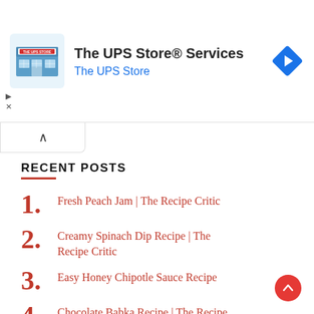[Figure (screenshot): UPS Store advertisement banner with store icon, title 'The UPS Store® Services', subtitle 'The UPS Store', and a blue navigation arrow icon on the right.]
RECENT POSTS
1. Fresh Peach Jam | The Recipe Critic
2. Creamy Spinach Dip Recipe | The Recipe Critic
3. Easy Honey Chipotle Sauce Recipe
4. Chocolate Babka Recipe | The Recipe Critic